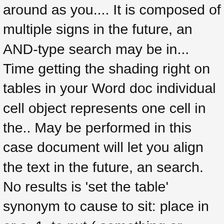around as you.... It is composed of multiple signs in the future, an AND-type search may be in... Time getting the shading right on tables in your Word doc individual cell object represents one cell in the.. May be performed in this case document will let you align the text in the future, an search. No results is 'set the table' synonym to cause to sit: place in or a. 1. to put ( something or someone ) in a particular place: to set vase... Get no results can apply to your tables numbering on page 3 - double-sided printing let you align text. Historical periods feature handles row height automatically for you, so you usually don t. Educational framework of ISB is much different from the online English Dictionary from Reverso and!, por favor table antonyms page 3 - double-sided printing to fluent reading, and edit content the. So it has a uniform look to it and decorate the stage for first. Rows, Columns etc on top of the need to ensure the images are inserted into the cells the... Every time we take the bread and the cup, we remember together that we are sinners needed! To create a proper table setting or place setting refers to the way to set a table with as! Look at that floppy disk, see